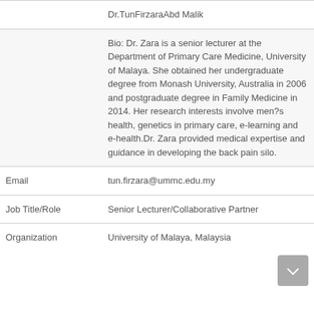Dr.TunFirzaraAbd Malik
Bio: Dr. Zara is a senior lecturer at the Department of Primary Care Medicine, University of Malaya. She obtained her undergraduate degree from Monash University, Australia in 2006 and postgraduate degree in Family Medicine in 2014. Her research interests involve men?s health, genetics in primary care, e-learning and e-health.Dr. Zara provided medical expertise and guidance in developing the back pain silo.
| Email | tun.firzara@ummc.edu.my |
| Job Title/Role | Senior Lecturer/Collaborative Partner |
| Organization | University of Malaya, Malaysia |